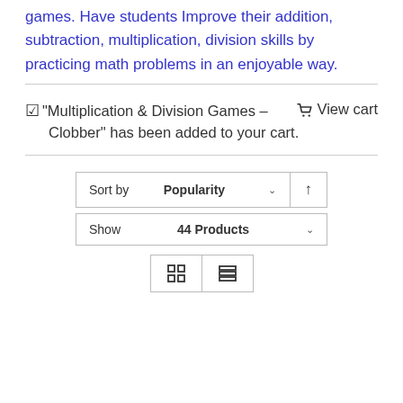games. Have students Improve their addition, subtraction, multiplication, division skills by practicing math problems in an enjoyable way.
"Multiplication & Division Games – Clobber" has been added to your cart.  View cart
Sort by Popularity
Show 44 Products